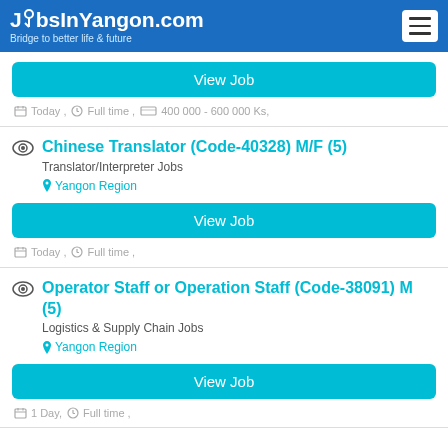JobsInYangon.com — Bridge to better life & future
View Job
Today , Full time , 400 000 - 600 000 Ks,
Chinese Translator (Code-40328) M/F (5)
Translator/Interpreter Jobs
Yangon Region
View Job
Today , Full time ,
Operator Staff or Operation Staff (Code-38091) M (5)
Logistics & Supply Chain Jobs
Yangon Region
View Job
1 Day, Full time ,